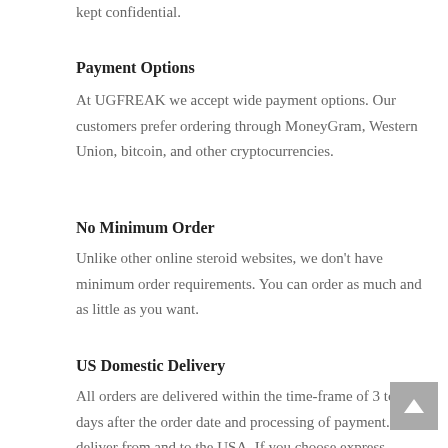kept confidential.
Payment Options
At UGFREAK we accept wide payment options. Our customers prefer ordering through MoneyGram, Western Union, bitcoin, and other cryptocurrencies.
No Minimum Order
Unlike other online steroid websites, we don't have minimum order requirements. You can order as much and as little as you want.
US Domestic Delivery
All orders are delivered within the time-frame of 3 to 21 days after the order date and processing of payment. We deliver from and to the USA. If you choose express delivery, your order will reach within 3 days. If you